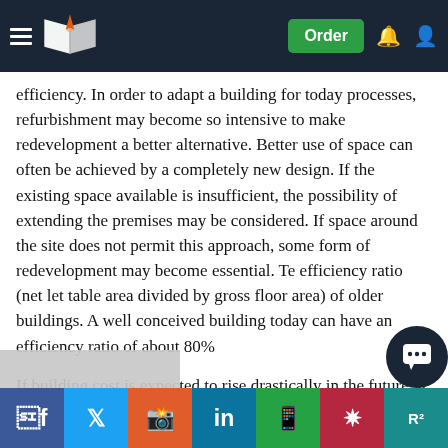Navigation bar with logo, Order button, notification and user icons
efficiency. In order to adapt a building for today processes, refurbishment may become so intensive to make redevelopment a better alternative. Better use of space can often be achieved by a completely new design. If the existing space available is insufficient, the possibility of extending the premises may be considered. If space around the site does not permit this approach, some form of redevelopment may become essential. Te efficiency ratio (net let table area divided by gross floor area) of older buildings. A well conceived building today can have an efficiency ratio of about 80%
If building cost is expected to rise drastically in the future, it is better not to postponed the decision for redevelopment by choosing refurbishment. The expected rise in building cost will ha... cost... [partially obscured]